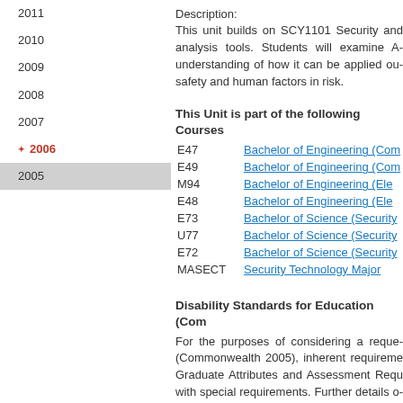2011
2010
2009
2008
2007
2006
2005
Description:
This unit builds on SCY1101 Security and analysis tools. Students will examine AS understanding of how it can be applied out safety and human factors in risk.
This Unit is part of the following Courses
| Code | Course |
| --- | --- |
| E47 | Bachelor of Engineering (Com... |
| E49 | Bachelor of Engineering (Com... |
| M94 | Bachelor of Engineering (Ele... |
| E48 | Bachelor of Engineering (Ele... |
| E73 | Bachelor of Science (Security... |
| U77 | Bachelor of Science (Security... |
| E72 | Bachelor of Science (Security... |
| MASECT | Security Technology Major |
Disability Standards for Education (Com...
For the purposes of considering a request (Commonwealth 2005), inherent requireme Graduate Attributes and Assessment Requ with special requirements. Further details o the Student Equity, Diversity and Disability S...